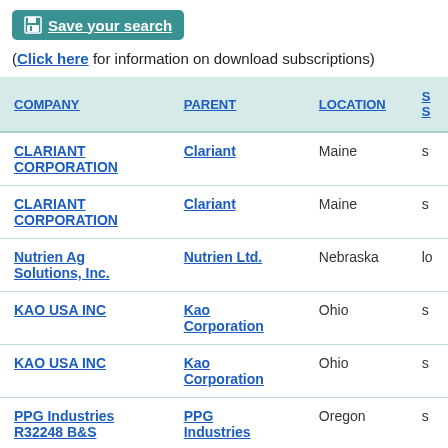Save your search (Click here for information on download subscriptions)
| COMPANY | PARENT | LOCATION | S... |
| --- | --- | --- | --- |
| CLARIANT CORPORATION | Clariant | Maine | s... |
| CLARIANT CORPORATION | Clariant | Maine | s... |
| Nutrien Ag Solutions, Inc. | Nutrien Ltd. | Nebraska | lo... |
| KAO USA INC | Kao Corporation | Ohio | s... |
| KAO USA INC | Kao Corporation | Ohio | s... |
| PPG Industries R32248 B&S | PPG Industries | Oregon | s... |